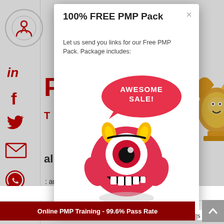[Figure (screenshot): Website page showing social media sidebar icons (LinkedIn, Facebook, Twitter, Email, WhatsApp) on the left, red 'P' letter and 'T' text visible behind modal, partial text 'al &' and 'and save 40%' and 'and lifetime', italic text 'g 26 Midnight PST.', dark red courses button, and bottom page text 'inputs, tools & techniques which produce the d...s the 10']
100% FREE PMP Pack
Let us send you links for our Free PMP Pack. Package includes:
[Figure (illustration): Red cartoon monster mascot with one large eye, yellow horns, smiling with white teeth, with a pink speech bubble saying 'AWESOME SALE!' in white text. A gold trophy/award figure is partially visible on the right side.]
inputs, tools & techniques which produce the
Online PMP Training - 99.6% Pass Rate